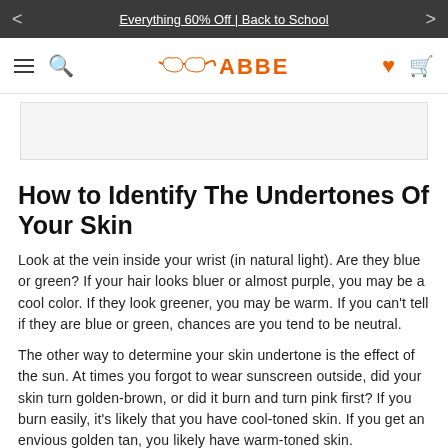Everything 60% Off | Back to School
[Figure (logo): BBABBE brand logo with glasses icon in orange]
[Figure (other): Image placeholder / banner area]
How to Identify The Undertones Of Your Skin
Look at the vein inside your wrist (in natural light). Are they blue or green? If your hair looks bluer or almost purple, you may be a cool color. If they look greener, you may be warm. If you can't tell if they are blue or green, chances are you tend to be neutral.
The other way to determine your skin undertone is the effect of the sun. At times you forgot to wear sunscreen outside, did your skin turn golden-brown, or did it burn and turn pink first? If you burn easily, it's likely that you have cool-toned skin. If you get an envious golden tan, you likely have warm-toned skin.